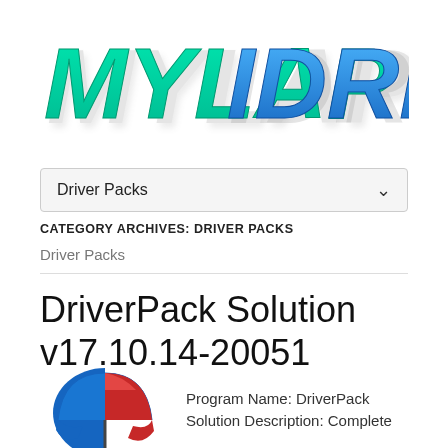[Figure (logo): MyLapiDrivers logo with stylized text in teal and blue gradient with italic bold font]
Driver Packs
CATEGORY ARCHIVES: DRIVER PACKS
Driver Packs
DriverPack Solution v17.10.14-20051
[Figure (logo): DriverPack Solution umbrella logo icon - blue and red umbrella shape]
Program Name: DriverPack Solution Description: Complete